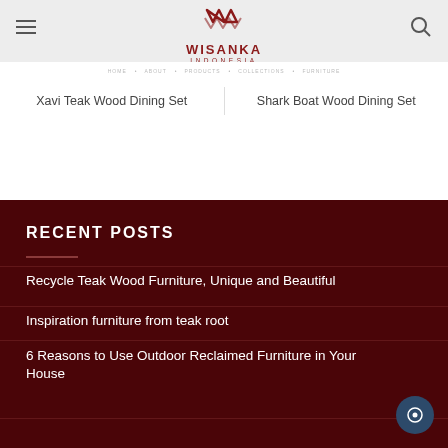[Figure (screenshot): Wisanka Indonesia logo with zigzag chevron pattern in dark red]
Xavi Teak Wood Dining Set
Shark Boat Wood Dining Set
RECENT POSTS
Recycle Teak Wood Furniture, Unique and Beautiful
Inspiration furniture from teak root
6 Reasons to Use Outdoor Reclaimed Furniture in Your House